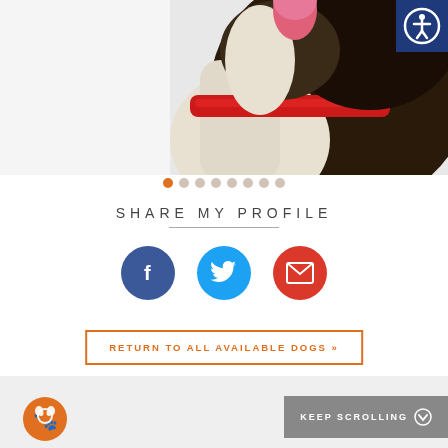[Figure (photo): Close-up photo of a dog wearing a red collar with a blue tag, looking upward with mouth open and tongue visible, black and white fur coloring, white background]
[Figure (illustration): Row of 8 navigation dots, first dot orange/active, remaining dots light tan/gray]
SHARE MY PROFILE
[Figure (infographic): Three social sharing buttons: Facebook (dark blue circle with f icon), Twitter (light blue circle with bird icon), Email (red circle with envelope icon)]
RETURN TO ALL AVAILABLE DOGS »
[Figure (logo): Orange circular icon with white dog/paw silhouette in bottom left of footer]
KEEP SCROLLING
[Figure (illustration): Accessibility icon - white person with circle outline on dark navy blue background, top right corner]